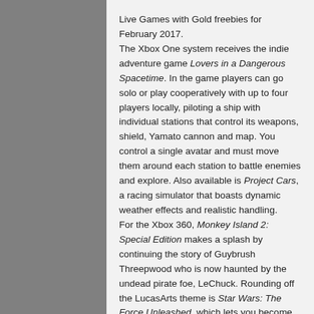Live Games with Gold freebies for February 2017.
The Xbox One system receives the indie adventure game Lovers in a Dangerous Spacetime. In the game players can go solo or play cooperatively with up to four players locally, piloting a ship with individual stations that control its weapons, shield, Yamato cannon and map. You control a single avatar and must move them around each station to battle enemies and explore. Also available is Project Cars, a racing simulator that boasts dynamic weather effects and realistic handling.
For the Xbox 360, Monkey Island 2: Special Edition makes a splash by continuing the story of Guybrush Threepwood who is now haunted by the undead pirate foe, LeChuck. Rounding off the LucasArts theme is Star Wars: The Force Unleashed, which lets you become Darth Vader's secret apprentice and “unleash” an array of Force abilities on Stormtroopers and Jedi alike.
Full availability details are below: